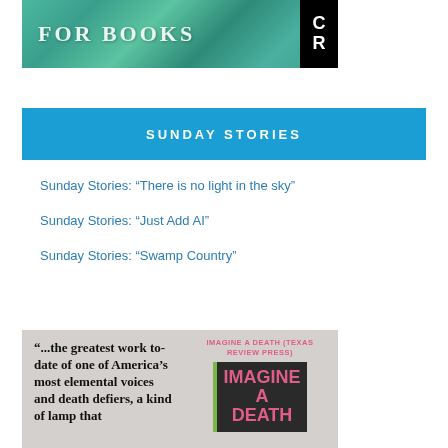[Figure (photo): Header image showing bookshelves in teal/green tones with text FOR BOOKS and a CR logo box in black and white]
SUNDAY STORIES
Sunday Stories: “There is no light in the sky”
Sunday Stories: “Just Add AI”
Sunday Stories: “Swamp Country”
[Figure (photo): Book advertisement card with gray background. Left side has bold black text: '...the greatest work to-date of one of America's most elemental voices and death defiers, a kind of lamp that'. Right side shows pink text 'IMAGINE A DEATH (TEXAS REVIEW PRESS)' above a book cover with dark background and large pink text reading IMAGINE A DEATH]